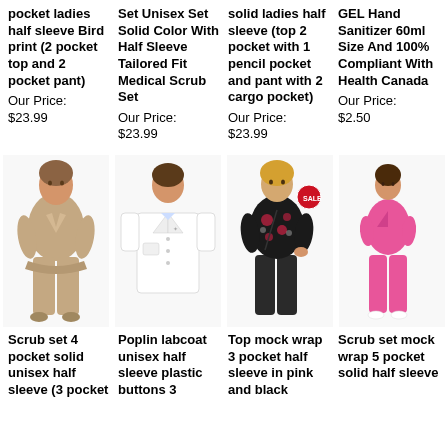pocket ladies half sleeve Bird print (2 pocket top and 2 pocket pant)
Our Price: $23.99
Set Unisex Set Solid Color With Half Sleeve Tailored Fit Medical Scrub Set
Our Price: $23.99
solid ladies half sleeve (top 2 pocket with 1 pencil pocket and pant with 2 cargo pocket)
Our Price: $23.99
GEL Hand Sanitizer 60ml Size And 100% Compliant With Health Canada
Our Price: $2.50
[Figure (photo): Woman wearing beige/tan scrub set with short sleeves]
[Figure (photo): White poplin labcoat unisex half sleeve]
[Figure (photo): Woman wearing black floral print mock wrap scrub top with SALE badge]
[Figure (photo): Woman wearing pink scrub set mock wrap]
Scrub set 4 pocket solid unisex half sleeve (3 pocket
Poplin labcoat unisex half sleeve plastic buttons 3
Top mock wrap 3 pocket half sleeve in pink and black
Scrub set mock wrap 5 pocket solid half sleeve